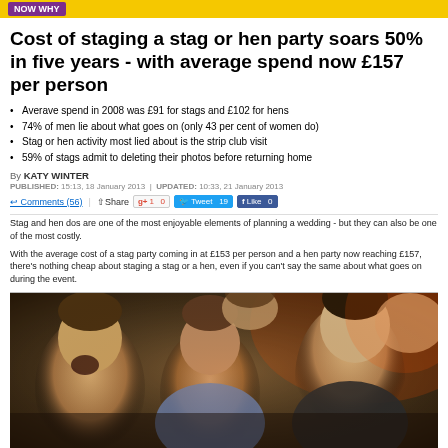NOW WHY
Cost of staging a stag or hen party soars 50% in five years - with average spend now £157 per person
Averave spend in 2008 was £91 for stags and £102 for hens
74% of men lie about what goes on (only 43 per cent of women do)
Stag or hen activity most lied about is the strip club visit
59% of stags admit to deleting their photos before returning home
By KATY WINTER
PUBLISHED: 15:13, 18 January 2013 | UPDATED: 10:33, 21 January 2013
Stag and hen dos are one of the most enjoyable elements of planning a wedding - but they can also be one of the most costly.
With the average cost of a stag party coming in at £153 per person and a hen party now reaching £157, there's nothing cheap about staging a stag or a hen, even if you can't say the same about what goes on during the event.
The study, carried out by Stag Company and Hen Heaven found that spending had soared by over 50 percent over the past five years as it appears that no matter the economic situation people will find the money to give their friend a memorable send-off.
[Figure (photo): Group of young men at a stag party, laughing and celebrating]